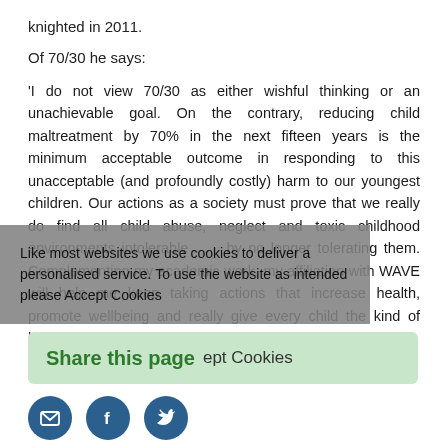knighted in 2011.
Of 70/30 he says:
'I do not view 70/30 as either wishful thinking or an unachievable goal. On the contrary, reducing child maltreatment by 70% in the next fifteen years is the minimum acceptable outcome in responding to this unacceptable (and profoundly costly) harm to our youngest children. Our actions as a society must prove that we really do find all child abuse, neglect and toxic childhood environments intolerable . . . by no longer tolerating them. Complementing my academic work, my affiliation with WAVE will help me keep taking actions that increase health, promote wellbeing and really give every child the kind of brilliant start in life we wish for our own children.'
Like most websites we use cookies to deliver a personalised service. To use the website as intended please Accept Cookies
Share this page  Accept Cookies
[Figure (other): Social sharing icons: email, Facebook, Twitter]